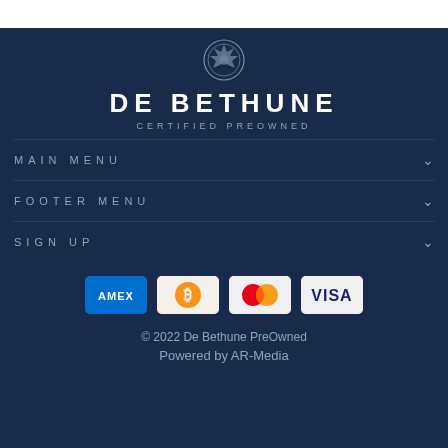[Figure (logo): De Bethune Certified PreOwned logo with crown emblem above brand name]
DE BETHUNE
CERTIFIED PREOWNED
MAIN MENU
FOOTER MENU
SIGN UP
[Figure (other): Payment method icons: American Express (AMEX), Bitcoin, Mastercard, Visa]
© 2022 De Bethune PreOwned
Powered by AR-Media